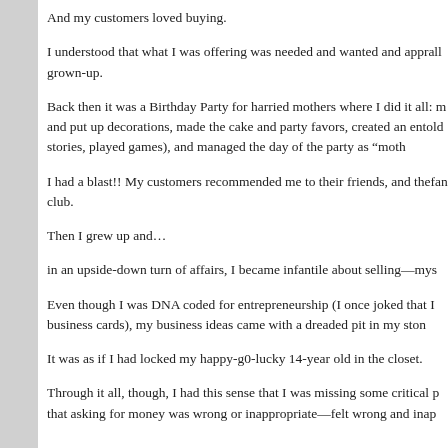And my customers loved buying.
I understood that what I was offering was needed and wanted and appr... all grown-up.
Back then it was a Birthday Party for harried mothers where I did it all: ... and put up decorations, made the cake and party favors, created an en... told stories, played games), and managed the day of the party as "moth...
I had a blast!! My customers recommended me to their friends, and the... fan club.
Then I grew up and…
in an upside-down turn of affairs, I became infantile about selling—mys...
Even though I was DNA coded for entrepreneurship (I once joked that I... business cards), my business ideas came with a dreaded pit in my ston...
It was as if I had locked my happy-g0-lucky 14-year old in the closet.
Through it all, though, I had this sense that I was missing some critical p... that asking for money was wrong or inappropriate—felt wrong and inap...